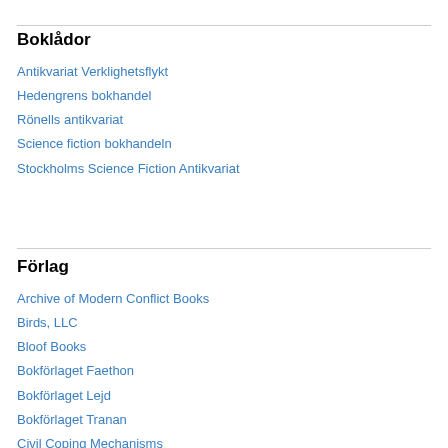Boklådor
Antikvariat Verklighetsflykt
Hedengrens bokhandel
Rönells antikvariat
Science fiction bokhandeln
Stockholms Science Fiction Antikvariat
Förlag
Archive of Modern Conflict Books
Birds, LLC
Bloof Books
Bokförlaget Faethon
Bokförlaget Lejd
Bokförlaget Tranan
Civil Coping Mechanisms
Dockhaveri förlag